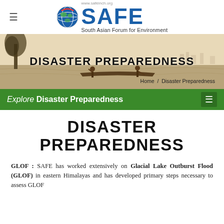[Figure (logo): SAFE - South Asian Forum for Environment logo with globe graphic and text]
[Figure (photo): Hero banner photo of two people on a boat in a river with a large tree on the left, muted sepia tones, overlaid with text DISASTER PREPAREDNESS]
DISASTER PREPAREDNESS
Home / Disaster Preparedness
Explore Disaster Preparedness
DISASTER PREPAREDNESS
GLOF : SAFE has worked extensively on Glacial Lake Outburst Flood (GLOF) in eastern Himalayas and has developed primary steps necessary to assess GLOF